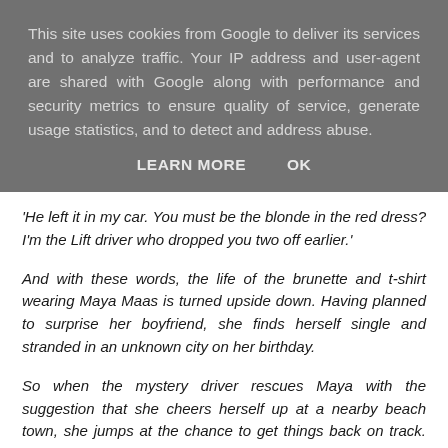This site uses cookies from Google to deliver its services and to analyze traffic. Your IP address and user-agent are shared with Google along with performance and security metrics to ensure quality of service, generate usage statistics, and to detect and address abuse.
LEARN MORE    OK
'He left it in my car. You must be the blonde in the red dress? I'm the Lift driver who dropped you two off earlier.'
And with these words, the life of the brunette and t-shirt wearing Maya Maas is turned upside down. Having planned to surprise her boyfriend, she finds herself single and stranded in an unknown city on her birthday.
So when the mystery driver rescues Maya with the suggestion that she cheers herself up at a nearby beach town, she jumps at the chance to get things back on track. She wasn't expecting a personalised itinerary or the easy companionship that comes from opening up to a stranger via text, let alone the possibility it might grow into something